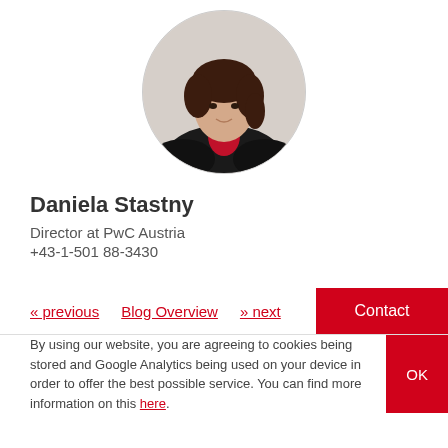[Figure (photo): Circular profile photo of Daniela Stastny, a woman with dark brown hair wearing a black jacket and red blouse, smiling.]
Daniela Stastny
Director at PwC Austria
+43-1-501 88-3430
« previous   Blog Overview   » next
Contact
By using our website, you are agreeing to cookies being stored and Google Analytics being used on your device in order to offer the best possible service. You can find more information on this here.
OK